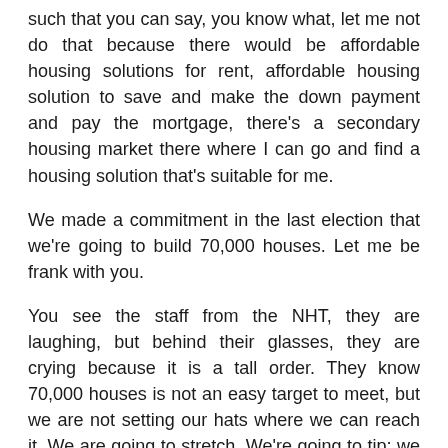such that you can say, you know what, let me not do that because there would be affordable housing solutions for rent, affordable housing solution to save and make the down payment and pay the mortgage, there's a secondary housing market there where I can go and find a housing solution that's suitable for me.
We made a commitment in the last election that we're going to build 70,000 houses. Let me be frank with you.
You see the staff from the NHT, they are laughing, but behind their glasses, they are crying because it is a tall order. They know 70,000 houses is not an easy target to meet, but we are not setting our hats where we can reach it. We are going to stretch. We're going to tip; we are going to extend ourselves because the situation with housing is important.